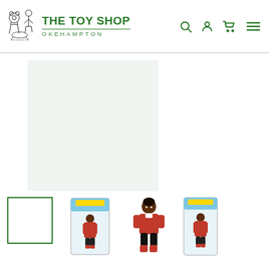THE TOY SHOP OKEHAMPTON
[Figure (photo): Main product image area showing a light mint/green background placeholder for a doll product photo]
[Figure (photo): Thumbnail row: first thumbnail is empty with green border (selected), second shows doll in red jacket in box packaging, third shows doll in red jacket outfit, fourth shows doll in red jacket in box packaging]